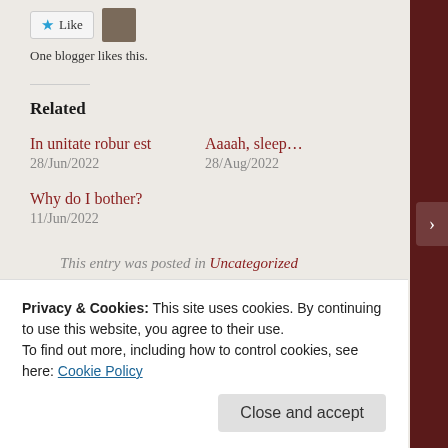One blogger likes this.
Related
In unitate robur est
28/Jun/2022
Aaaah, sleep...
28/Aug/2022
Why do I bother?
11/Jun/2022
This entry was posted in Uncategorized
Privacy & Cookies: This site uses cookies. By continuing to use this website, you agree to their use.
To find out more, including how to control cookies, see here: Cookie Policy
Close and accept